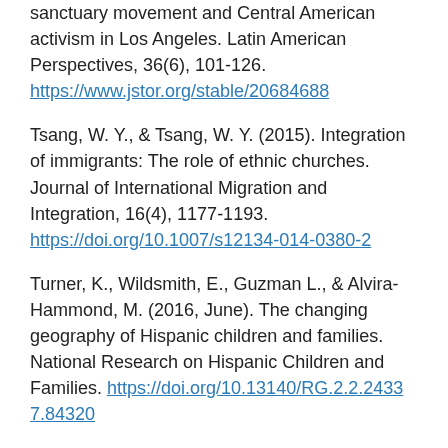sanctuary movement and Central American activism in Los Angeles. Latin American Perspectives, 36(6), 101-126. https://www.jstor.org/stable/20684688
Tsang, W. Y., & Tsang, W. Y. (2015). Integration of immigrants: The role of ethnic churches. Journal of International Migration and Integration, 16(4), 1177-1193. https://doi.org/10.1007/s12134-014-0380-2
Turner, K., Wildsmith, E., Guzman L., & Alvira-Hammond, M. (2016, June). The changing geography of Hispanic children and families. National Research on Hispanic Children and Families. https://doi.org/10.13140/RG.2.2.24337.84320
U.S. Census Bureau. (2019). Demographic and housing estimates, 2010 & 2018 American community survey 5-year estimates data profiles. https://data.census.gov/cedsci/table?q=goshen%20city%20indiana&t=Hispanic%20or%2.